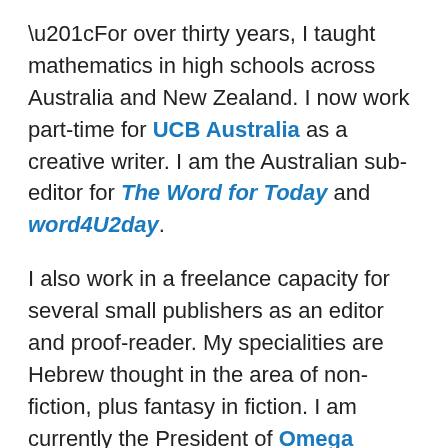“For over thirty years, I taught mathematics in high schools across Australia and New Zealand. I now work part-time for UCB Australia as a creative writer. I am the Australian sub-editor for The Word for Today and word4U2day.
I also work in a freelance capacity for several small publishers as an editor and proof-reader. My specialities are Hebrew thought in the area of non-fiction, plus fantasy in fiction. I am currently the President of Omega Writers Inc, a support group for authors who specialise in faith-inspired work.
To the despair of my publishers who would like me to develop a consistent readership, I write both fiction and non-fiction. The only common thread in both is their numerical literary style, a fusion of words and mathematics that is as beautiful and old as the first written